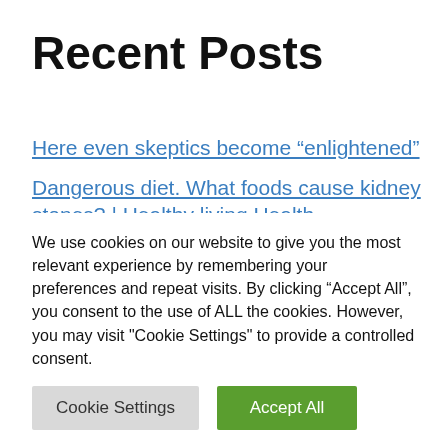Recent Posts
Here even skeptics become “enlightened”
Dangerous diet. What foods cause kidney stones? | Healthy living Health
It will suit the landscape: 19 playgrounds are equipped in Shchukinsky Park and All Saints
We use cookies on our website to give you the most relevant experience by remembering your preferences and repeat visits. By clicking “Accept All”, you consent to the use of ALL the cookies. However, you may visit "Cookie Settings" to provide a controlled consent.